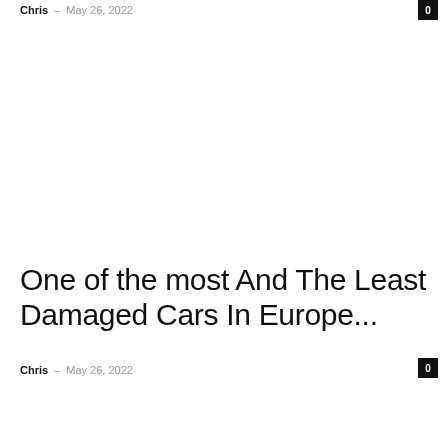Chris – May 26, 2022
0
One of the most And The Least Damaged Cars In Europe...
Chris – May 26, 2022
0